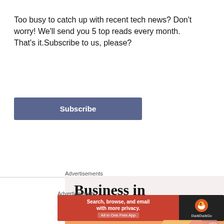Too busy to catch up with recent tech news? Don't worry! We'll send you 5 top reads every month. That's it.Subscribe to us, please?
Subscribe
Advertisements
[Figure (illustration): Advertisement banner split into two sections: top with text 'Business in the front...' on light background, bottom with text 'WordPress in the back.' on orange background with decorative circles]
Advertisements
[Figure (illustration): DuckDuckGo advertisement: 'Search, browse, and email with more privacy. All in One Free App' on red/orange background with DuckDuckGo logo on dark background]